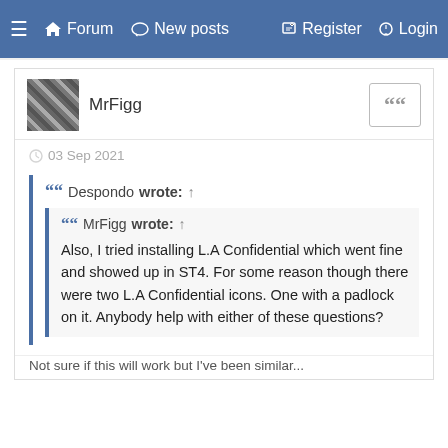≡  🏠 Forum  💬 New posts  ✎ Register  ⏻ Login
MrFigg
03 Sep 2021
Despondo wrote: ↑
MrFigg wrote: ↑
Also, I tried installing L.A Confidential which went fine and showed up in ST4. For some reason though there were two L.A Confidential icons. One with a padlock on it. Anybody help with either of these questions?